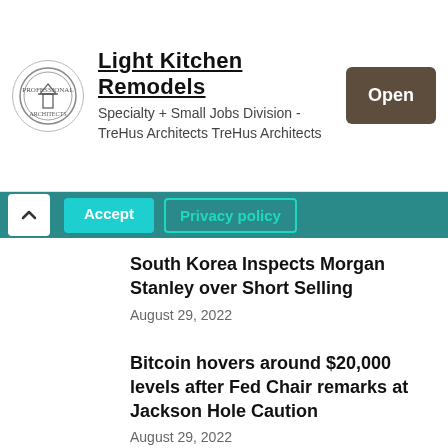[Figure (other): Advertisement banner for Light Kitchen Remodels by TreHus Architects, with circular logo, text, and brown Open button]
Accept   Privacy policy
South Korea Inspects Morgan Stanley over Short Selling
August 29, 2022
Bitcoin hovers around $20,000 levels after Fed Chair remarks at Jackson Hole Caution
August 29, 2022
How to Build and Improve a Strong Credit Score?
August 29, 2022